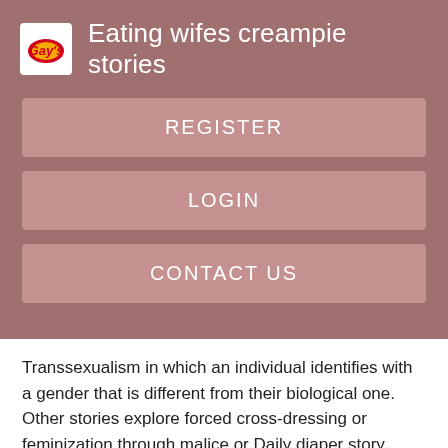Eating wifes creampie stories
REGISTER
LOGIN
CONTACT US
Transsexualism in which an individual identifies with a gender that is different from their biological one. Other stories explore forced cross-dressing or feminization through malice or Daily diaper story board.
‘tv cd ts tg bdsm’ stories
They involve scenes of humiliation and submission. The transformation can be non-consensual, with the transformer often becoming confused, scared, or angry Md/lg stories the